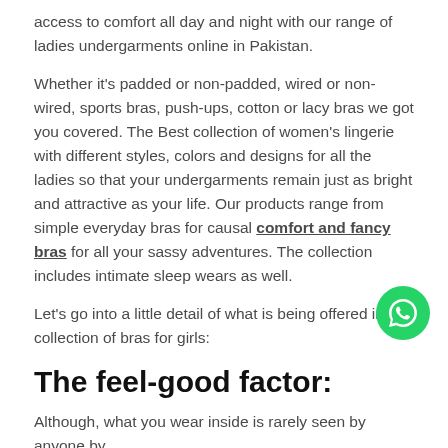access to comfort all day and night with our range of ladies undergarments online in Pakistan.
Whether it's padded or non-padded, wired or non-wired, sports bras, push-ups, cotton or lacy bras we got you covered. The Best collection of women's lingerie with different styles, colors and designs for all the ladies so that your undergarments remain just as bright and attractive as your life. Our products range from simple everyday bras for causal comfort and fancy bras for all your sassy adventures. The collection includes intimate sleep wears as well.
Let's go into a little detail of what is being offered in our collection of bras for girls:
The feel-good factor:
Although, what you wear inside is rarely seen by anyone by